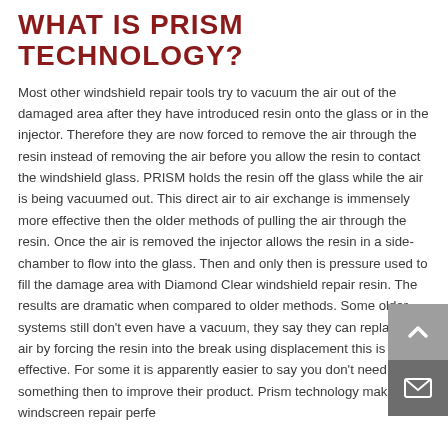WHAT IS PRISM TECHNOLOGY?
Most other windshield repair tools try to vacuum the air out of the damaged area after they have introduced resin onto the glass or in the injector. Therefore they are now forced to remove the air through the resin instead of removing the air before you allow the resin to contact the windshield glass. PRISM holds the resin off the glass while the air is being vacuumed out. This direct air to air exchange is immensely more effective then the older methods of pulling the air through the resin. Once the air is removed the injector allows the resin in a side-chamber to flow into the glass. Then and only then is pressure used to fill the damage area with Diamond Clear windshield repair resin. The results are dramatic when compared to older methods. Some older systems still don't even have a vacuum, they say they can replace the air by forcing the resin into the break using displacement this is not effective. For some it is apparently easier to say you don't need something then to improve their product. Prism technology makes windscreen repair perfe...